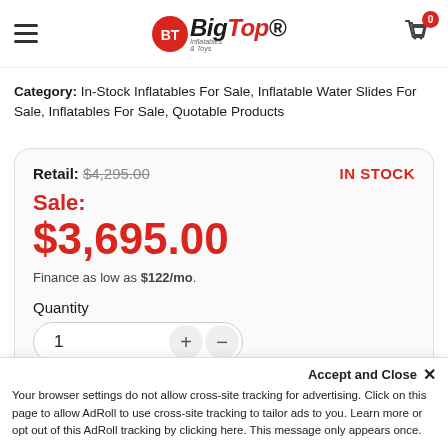[Figure (logo): Big Top Inflatables & Toys logo with hamburger menu and cart icon with badge showing 0]
Category: In-Stock Inflatables For Sale, Inflatable Water Slides For Sale, Inflatables For Sale, Quotable Products
Retail: $4,295.00   IN STOCK
Sale:
$3,695.00
Finance as low as $122/mo.
Quantity
1
Accept and Close ×
Your browser settings do not allow cross-site tracking for advertising. Click on this page to allow AdRoll to use cross-site tracking to tailor ads to you. Learn more or opt out of this AdRoll tracking by clicking here. This message only appears once.